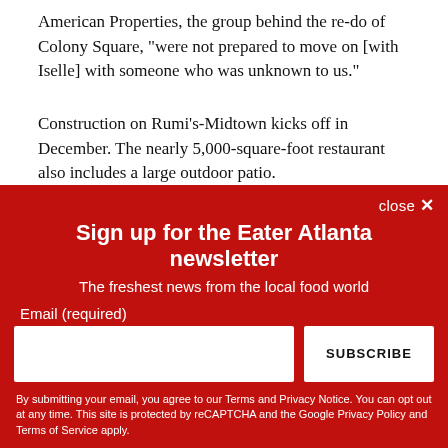American Properties, the group behind the re-do of Colony Square, “were not prepared to move on [with Iselle] with someone who was unknown to us.”
Construction on Rumi’s-Midtown kicks off in December. The nearly 5,000-square-foot restaurant also includes a large outdoor patio.
“We’ve all… [partial, cut off by overlay]
[Figure (screenshot): Red newsletter signup overlay with close button, title 'Sign up for the Eater Atlanta newsletter', subtitle 'The freshest news from the local food world', email input field, SUBSCRIBE button, and fine print about terms and privacy.]